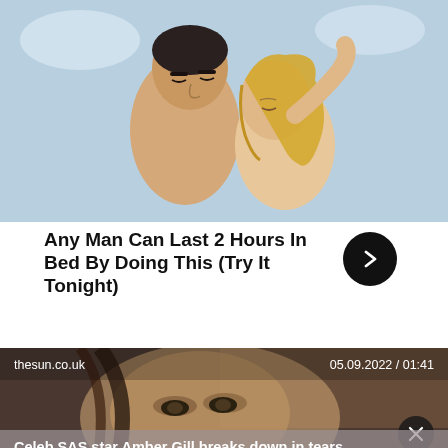[Figure (illustration): Romantic illustration of a man and woman embracing, drawn in an illustrated/comic style with soft colors]
Any Man Can Last 2 Hours In Bed By Doing This (Try It Tonight)
[Figure (screenshot): Video thumbnail from thesun.co.uk dated 05.09.2022 / 01:41 showing a close-up of a woman's face with sad expression]
Celeb SAS star Amber Gill breaks down in tears saying 'I can't do it'
#ferne maccann #shannon courtenay #show #stars #love